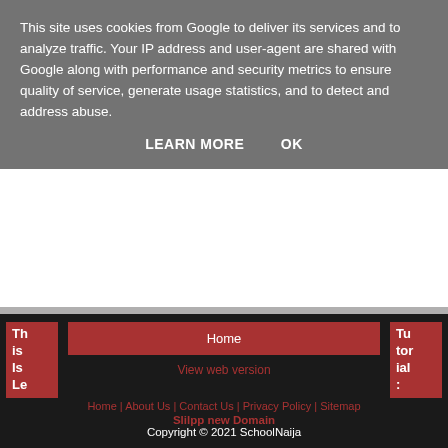This site uses cookies from Google to deliver its services and to analyze traffic. Your IP address and user-agent are shared with Google along with performance and security metrics to ensure quality of service, generate usage statistics, and to detect and address abuse.
LEARN MORE    OK
Share
No comments:
Post a Comment
Home | View web version | Home | About Us | Contact Us | Privacy Policy | Sitemap | Slilpp new Domain | Copyright © 2021 SchoolNaija